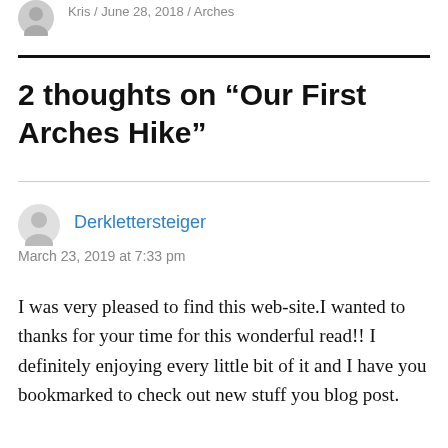Kris / June 28, 2018 / Arches
2 thoughts on “Our First Arches Hike”
Derklettersteiger
March 23, 2019 at 7:33 pm
I was very pleased to find this web-site.I wanted to thanks for your time for this wonderful read!! I definitely enjoying every little bit of it and I have you bookmarked to check out new stuff you blog post.